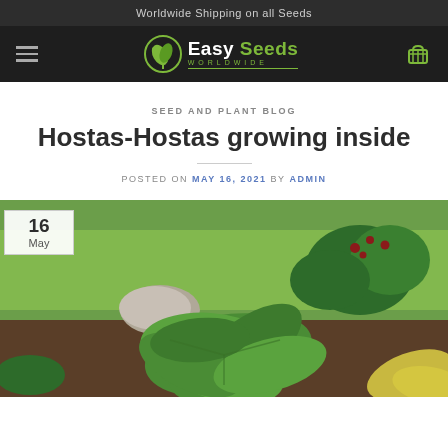Worldwide Shipping on all Seeds
[Figure (logo): Easy Seeds Worldwide logo with green leaf icon and cart icon on dark navigation bar]
SEED AND PLANT BLOG
Hostas-Hostas growing inside
POSTED ON MAY 16, 2021 BY ADMIN
[Figure (photo): Garden photo showing large green hosta plants with broad ribbed leaves in foreground, grass and shrubs with red berries in background. Date badge overlay shows 16 May.]